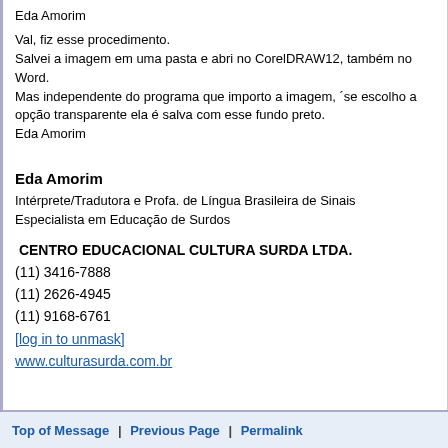Eda Amorim
Val, fiz esse procedimento.
Salvei a imagem em uma pasta e abri no CorelDRAW12, também no Word.
Mas independente do programa que importo a imagem, ´se escolho a opção transparente ela é salva com esse fundo preto.
Eda Amorim
Eda Amorim
Intérprete/Tradutora e Profa. de Língua Brasileira de Sinais
Especialista em Educação de Surdos

CENTRO EDUCACIONAL CULTURA SURDA LTDA.
(11) 3416-7888
(11) 2626-4945
(11) 9168-6761
[log in to unmask]
www.culturasurda.com.br
Top of Message | Previous Page | Permalink